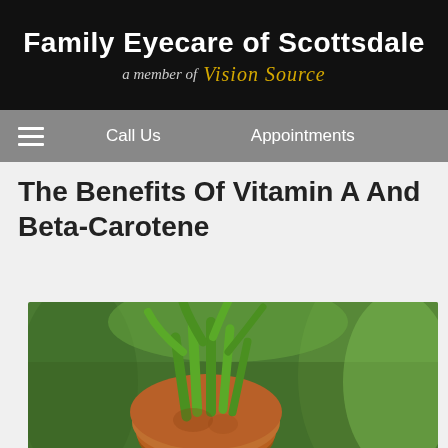Family Eyecare of Scottsdale — a member of Vision Source
Call Us   Appointments
The Benefits Of Vitamin A And Beta-Carotene
[Figure (photo): Close-up photo of a carrot with green leafy tops growing in a garden, with blurred green background]